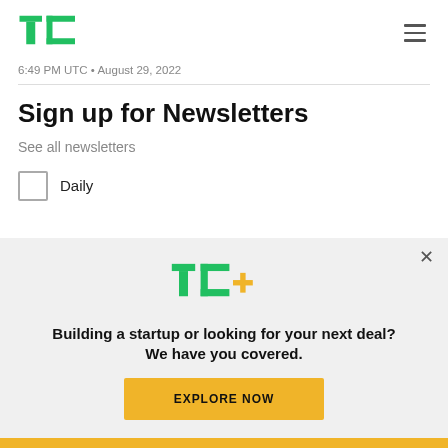TechCrunch logo and navigation
6:49 PM UTC • August 29, 2022
Sign up for Newsletters
See all newsletters
Daily
[Figure (infographic): TC+ promotional banner overlay with logo, tagline 'Building a startup or looking for your next deal? We have you covered.' and 'EXPLORE NOW' button]